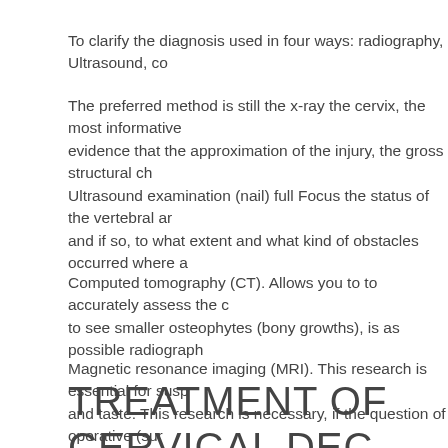To clarify the diagnosis used in four ways: radiography, Ultrasound, co
The preferred method is still the x-ray the cervix, the most informative evidence that the approximation of the injury, the gross structural ch
Ultrasound examination (nail) full Focus the status of the vertebral ar and if so, to what extent and what kind of obstacles occurred where a
Computed tomography (CT). Allows you to to accurately assess the c to see smaller osteophytes (bony growths), is as possible radiograph
Magnetic resonance imaging (MRI). This research is essential for susp and taste. This research is necessary, if the question of operative (sur
TREATMENT OF CERVICAL DEC